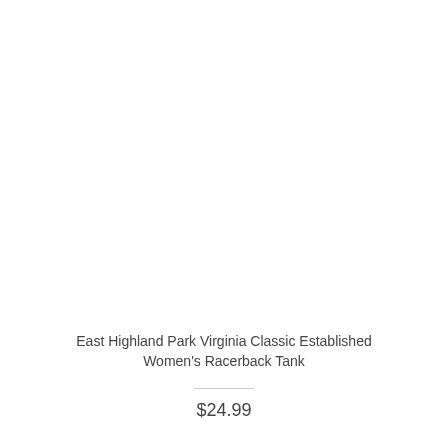[Figure (photo): Product image area showing a women's racerback tank top (image not visible/white)]
East Highland Park Virginia Classic Established Women's Racerback Tank
$24.99